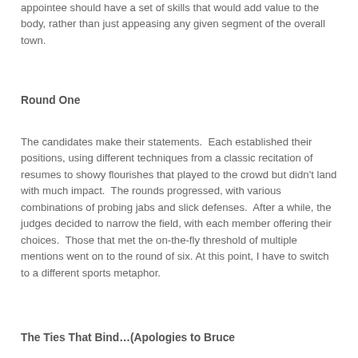appointee should have a set of skills that would add value to the body, rather than just appeasing any given segment of the overall town.
Round One
The candidates make their statements.  Each established their positions, using different techniques from a classic recitation of resumes to showy flourishes that played to the crowd but didn't land with much impact.  The rounds progressed, with various combinations of probing jabs and slick defenses.  After a while, the judges decided to narrow the field, with each member offering their choices.  Those that met the on-the-fly threshold of multiple mentions went on to the round of six. At this point, I have to switch to a different sports metaphor.
The Ties That Bind…(Apologies to Bruce